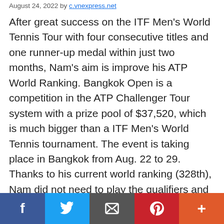August 24, 2022 by c.vnexpress.net
After great success on the ITF Men's World Tennis Tour with four consecutive titles and one runner-up medal within just two months, Nam's aim is improve his ATP World Ranking. Bangkok Open is a competition in the ATP Challenger Tour system with a prize pool of $37,520, which is much bigger than a ITF Men's World Tennis tournament. The event is taking place in Bangkok from Aug. 22 to 29. Thanks to his current world ranking (328th), Nam did not need to play the qualifiers and got a direct slot to the event. In the first round, the draw brought Nam to a match with Kelly (490th in world rankings). The first set saw Nam edging out Kelly